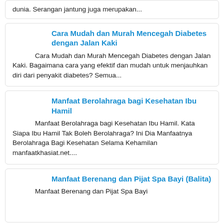dunia. Serangan jantung juga merupakan...
Cara Mudah dan Murah Mencegah Diabetes dengan Jalan Kaki
Cara Mudah dan Murah Mencegah Diabetes dengan Jalan Kaki. Bagaimana cara yang efektif dan mudah untuk menjauhkan diri dari penyakit diabetes? Semua...
Manfaat Berolahraga bagi Kesehatan Ibu Hamil
Manfaat Berolahraga bagi Kesehatan Ibu Hamil. Kata Siapa Ibu Hamil Tak Boleh Berolahraga? Ini Dia Manfaatnya Berolahraga Bagi Kesehatan Selama Kehamilan manfaatkhasiat.net....
Manfaat Berenang dan Pijat Spa Bayi (Balita)
Manfaat Berenang dan Pijat Spa Bayi